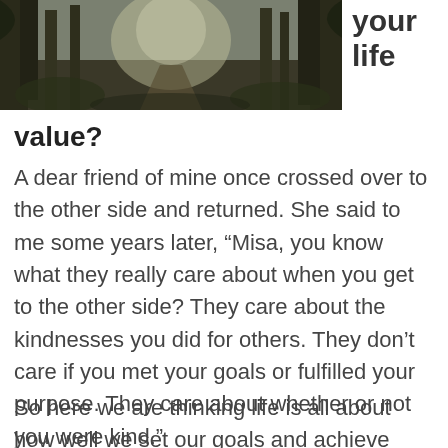[Figure (photo): Forest path with trees and misty light filtering through, viewed from a low angle. Dark green foliage and dirt path visible.]
your life
value?
A dear friend of mine once crossed over to the other side and returned. She said to me some years later, “Misa, you know what they really care about when you get to the other side? They care about the kindnesses you did for others. They don’t care if you met your goals or fulfilled your purpose. They care about whether or not you were kind.”
So here we are thinking life is all about how well we set our goals and achieve